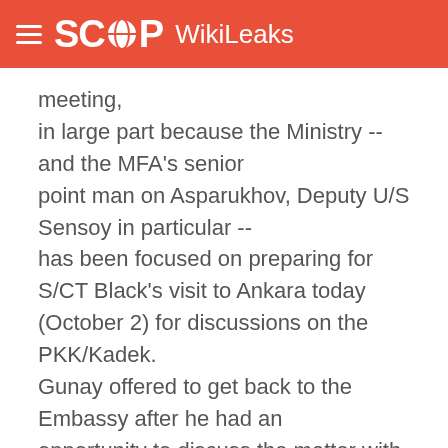SCOOP WikiLeaks
meeting, in large part because the Ministry -- and the MFA's senior point man on Asparukhov, Deputy U/S Sensoy in particular -- has been focused on preparing for S/CT Black's visit to Ankara today (October 2) for discussions on the PKK/Kadek. Gunay offered to get back to the Embassy after he had an opportunity to discuss the matter with Deputy U/S Sensoy.